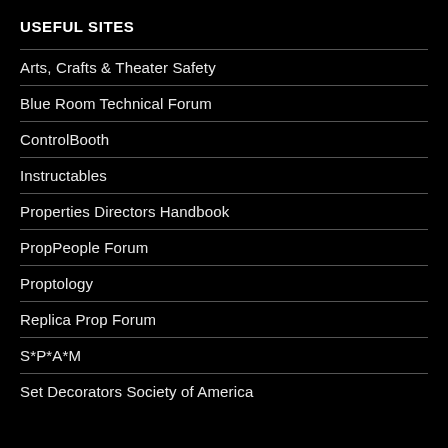USEFUL SITES
Arts, Crafts & Theater Safety
Blue Room Technical Forum
ControlBooth
Instructables
Properties Directors Handbook
PropPeople Forum
Proptology
Replica Prop Forum
S*P*A*M
Set Decorators Society of America